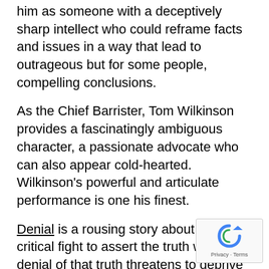him as someone with a deceptively sharp intellect who could reframe facts and issues in a way that lead to outrageous but for some people, compelling conclusions.
As the Chief Barrister, Tom Wilkinson provides a fascinatingly ambiguous character, a passionate advocate who can also appear cold-hearted. Wilkinson's powerful and articulate performance is one his finest.
Denial is a rousing story about the critical fight to assert the truth when denial of that truth threatens to deprive people of their history and ultimately their humanity. It presents a case that is not only significant in itself but also has vital implications in the current political and cultural environment.
Nick's rating: ****
Genre: Biopic/ drama.
[Figure (other): reCAPTCHA logo with Privacy and Terms text]